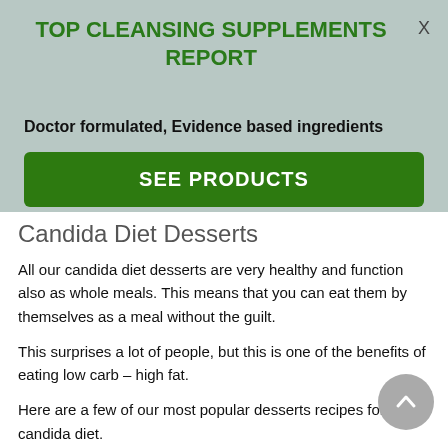TOP CLEANSING SUPPLEMENTS REPORT
Doctor formulated, Evidence based ingredients
SEE PRODUCTS
Candida Diet Desserts
All our candida diet desserts are very healthy and function also as whole meals. This means that you can eat them by themselves as a meal without the guilt.
This surprises a lot of people, but this is one of the benefits of eating low carb – high fat.
Here are a few of our most popular desserts recipes for the candida diet.